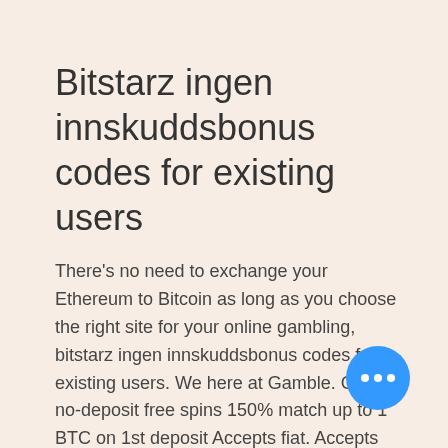Bitstarz ingen innskuddsbonus codes for existing users
There's no need to exchange your Ethereum to Bitcoin as long as you choose the right site for your online gambling, bitstarz ingen innskuddsbonus codes for existing users. We here at Gamble. Grab 20 no-deposit free spins 150% match up to 1 BTC on 1st deposit Accepts fiat. Accepts BTC, LTC, BCH, ETH, Doge Great slots selection, also Play\'n Go Specializes in reload bonuses. Bustabit puts a unique, additive spin on the traditional dicing format, bitstarz ingen innskuddsbonus codes for existing users. Most of their competitors 'let' (note that didn't choose the word 'allow') Americans using VPN gambling on their site, but